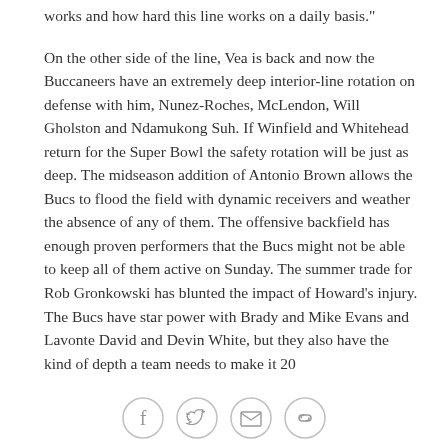works and how hard this line works on a daily basis."
On the other side of the line, Vea is back and now the Buccaneers have an extremely deep interior-line rotation on defense with him, Nunez-Roches, McLendon, Will Gholston and Ndamukong Suh. If Winfield and Whitehead return for the Super Bowl the safety rotation will be just as deep. The midseason addition of Antonio Brown allows the Bucs to flood the field with dynamic receivers and weather the absence of any of them. The offensive backfield has enough proven performers that the Bucs might not be able to keep all of them active on Sunday. The summer trade for Rob Gronkowski has blunted the impact of Howard's injury. The Bucs have star power with Brady and Mike Evans and Lavonte David and Devin White, but they also have the kind of depth a team needs to make it 20
[Figure (other): Social sharing icons: Facebook, Twitter, Email, Link]